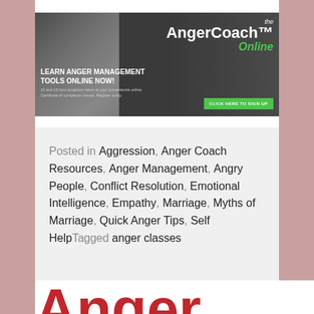[Figure (screenshot): The AngerCoach Online advertisement banner with dark background, headline 'LEARN ANGER MANAGEMENT TOOLS ONLINE NOW!', subtext about 10 and 16 hour programs, and a green 'CLICK HERE TO SIGN UP' button.]
Posted in Aggression, Anger Coach Resources, Anger Management, Angry People, Conflict Resolution, Emotional Intelligence, Empathy, Marriage, Myths of Marriage, Quick Anger Tips, Self HelpTagged anger classes
Anger Management